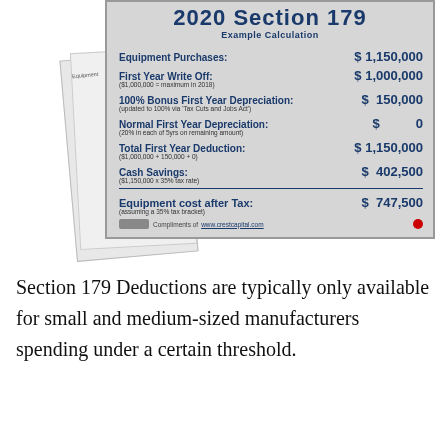[Figure (table-as-image): 2020 Section 179 Example Calculation card showing equipment purchases of $1,150,000, first year write off $1,000,000, 100% bonus first year depreciation $150,000, normal first year depreciation $0, total first year deduction $1,150,000, cash savings $402,500, equipment cost after tax $747,500. Branded with Crest Capital logo.]
Section 179 Deductions are typically only available for small and medium-sized manufacturers spending under a certain threshold.